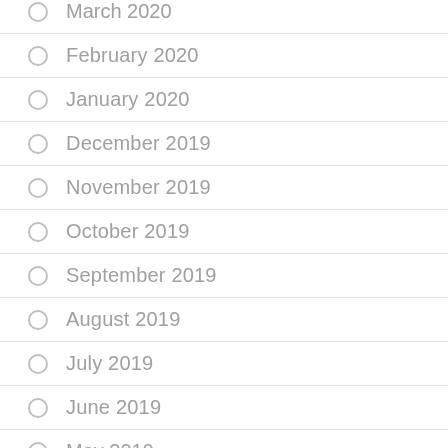March 2020 (partial, top cut off)
February 2020
January 2020
December 2019
November 2019
October 2019
September 2019
August 2019
July 2019
June 2019
May 2019 (partial, bottom cut off)